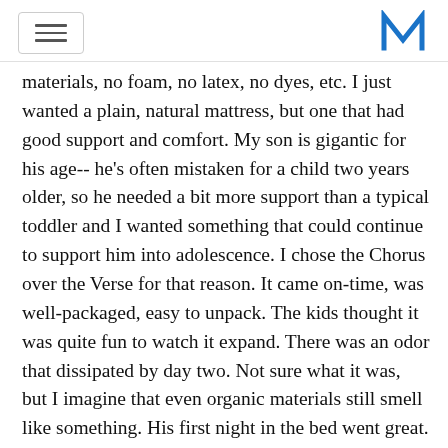materials, no foam, no latex, no dyes, etc. I just wanted a plain, natural mattress, but one that had good support and comfort. My son is gigantic for his age-- he's often mistaken for a child two years older, so he needed a bit more support than a typical toddler and I wanted something that could continue to support him into adolescence. I chose the Chorus over the Verse for that reason. It came on-time, was well-packaged, easy to unpack. The kids thought it was quite fun to watch it expand. There was an odor that dissipated by day two. Not sure what it was, but I imagine that even organic materials still smell like something. His first night in the bed went great. He was excited to climb in at bedtime and slept great all night. You can't ask for more than